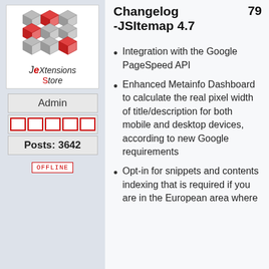[Figure (logo): JeXtensions Store logo with red and grey 3D cube blocks]
Admin
[Figure (other): Five red outlined star rating boxes]
Posts: 3642
OFFLINE
Changelog -JSItemap 4.7   79
Integration with the Google PageSpeed API
Enhanced Metainfo Dashboard to calculate the real pixel width of title/description for both mobile and desktop devices, according to new Google requirements
Opt-in for snippets and contents indexing that is required if you are in the European area where